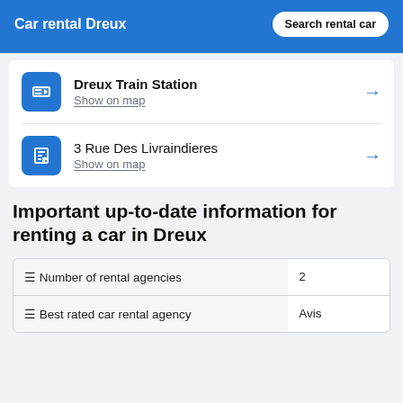Car rental Dreux
Dreux Train Station — Show on map
3 Rue Des Livraindieres — Show on map
Important up-to-date information for renting a car in Dreux
|  |  |
| --- | --- |
| 🛈 Number of rental agencies | 2 |
| 🛈 Best rated car rental agency | Avis |